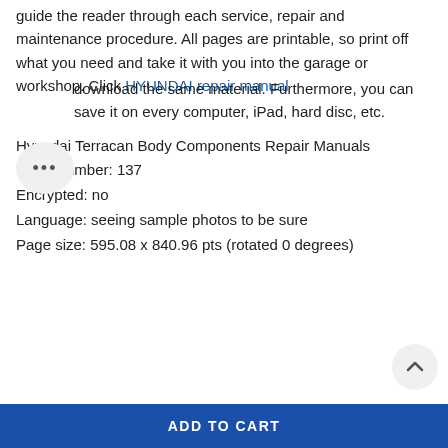guide the reader through each service, repair and maintenance procedure. All pages are printable, so print off what you need and take it with you into the garage or workshop. Click HYUNDAI repair manual … download the same material. Furthermore, you can save it on every computer, iPad, hard disc, etc.
Hyundai Terracan Body Components Repair Manuals
Page Number: 137
Encrypted: no
Language: seeing sample photos to be sure
Page size: 595.08 x 840.96 pts (rotated 0 degrees)
ADD TO CART